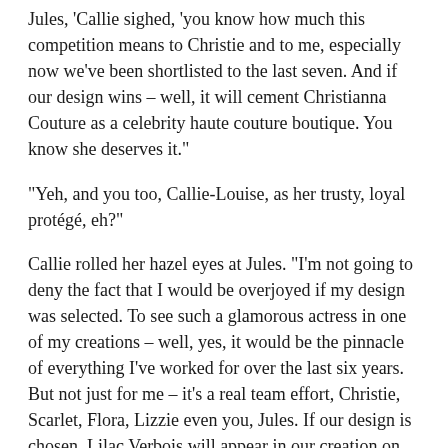Jules, ‘Callie sighed, ‘you know how much this competition means to Christie and to me, especially now we’ve been shortlisted to the last seven. And if our design wins – well, it will cement Christianna Couture as a celebrity haute couture boutique. You know she deserves it.”
“Yeh, and you too, Callie-Louise, as her trusty, loyal protégé, eh?”
Callie rolled her hazel eyes at Jules. “I’m not going to deny the fact that I would be overjoyed if my design was selected. To see such a glamorous actress in one of my creations – well, yes, it would be the pinnacle of everything I’ve worked for over the last six years. But not just for me – it’s a real team effort, Christie, Scarlet, Flora, Lizzie even you, Jules. If our design is chosen, Lilac Verbois will appear in our creation on the front cover of every glossy magazine in the country. Interest in Christianna Couture will rocket. Our order book will be packed out and that includes demand for your headpieces, fascinators